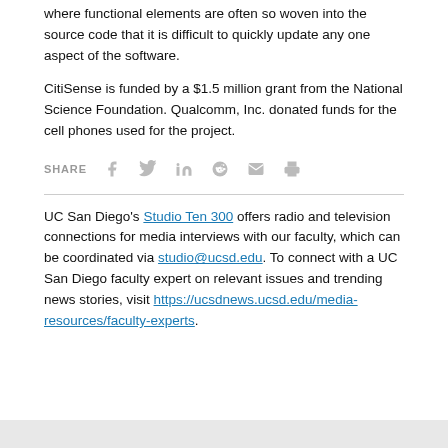where functional elements are often so woven into the source code that it is difficult to quickly update any one aspect of the software.
CitiSense is funded by a $1.5 million grant from the National Science Foundation. Qualcomm, Inc. donated funds for the cell phones used for the project.
SHARE [social media icons: Facebook, Twitter, LinkedIn, Reddit, Email, Print]
UC San Diego's Studio Ten 300 offers radio and television connections for media interviews with our faculty, which can be coordinated via studio@ucsd.edu. To connect with a UC San Diego faculty expert on relevant issues and trending news stories, visit https://ucsdnews.ucsd.edu/media-resources/faculty-experts.